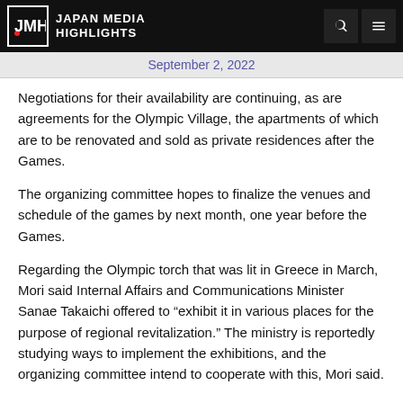JAPAN MEDIA HIGHLIGHTS
September 2, 2022
Negotiations for their availability are continuing, as are agreements for the Olympic Village, the apartments of which are to be renovated and sold as private residences after the Games.
The organizing committee hopes to finalize the venues and schedule of the games by next month, one year before the Games.
Regarding the Olympic torch that was lit in Greece in March, Mori said Internal Affairs and Communications Minister Sanae Takaichi offered to “exhibit it in various places for the purpose of regional revitalization.” The ministry is reportedly studying ways to implement the exhibitions, and the organizing committee intend to cooperate with this, Mori said.